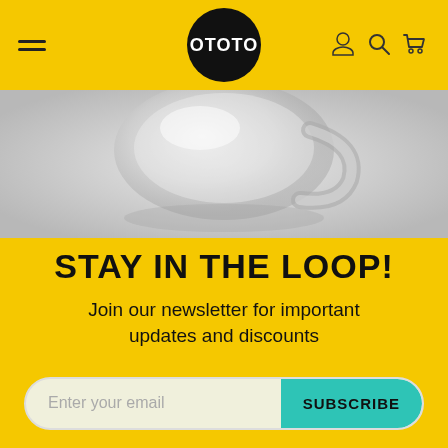OTOTO — navigation header with hamburger menu, logo, and icons
[Figure (photo): Close-up product photo of a transparent/glass kitchen item on a light grey background]
STAY IN THE LOOP!
Join our newsletter for important updates and discounts
Enter your email  SUBSCRIBE